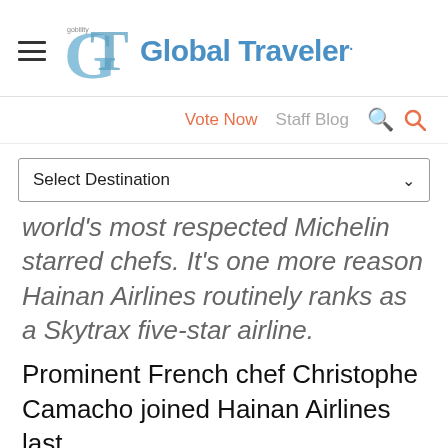Global Traveler
Vote Now   Staff Blog
Select Destination
world's most respected Michelin starred chefs. It's one more reason Hainan Airlines routinely ranks as a Skytrax five-star airline.
Prominent French chef Christophe Camacho joined Hainan Airlines last